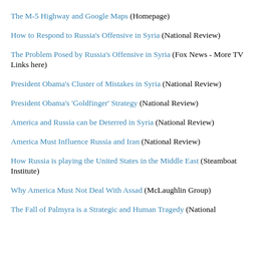The M-5 Highway and Google Maps (Homepage)
How to Respond to Russia's Offensive in Syria (National Review)
The Problem Posed by Russia's Offensive in Syria (Fox News - More TV Links here)
President Obama's Cluster of Mistakes in Syria (National Review)
President Obama's 'Goldfinger' Strategy (National Review)
America and Russia can be Deterred in Syria (National Review)
America Must Influence Russia and Iran (National Review)
How Russia is playing the United States in the Middle East (Steamboat Institute)
Why America Must Not Deal With Assad (McLaughlin Group)
The Fall of Palmyra is a Strategic and Human Tragedy (National